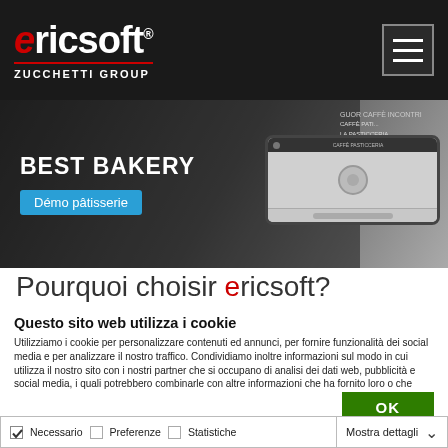ericsoft® ZUCCHETTI GROUP
[Figure (screenshot): Website banner showing BEST BAKERY demo with device mockup and café imagery in background]
Pourquoi choisir ericsoft?
Questo sito web utilizza i cookie
Utilizziamo i cookie per personalizzare contenuti ed annunci, per fornire funzionalità dei social media e per analizzare il nostro traffico. Condividiamo inoltre informazioni sul modo in cui utilizza il nostro sito con i nostri partner che si occupano di analisi dei dati web, pubblicità e social media, i quali potrebbero combinarle con altre informazioni che ha fornito loro o che hanno raccolto dal suo utilizzo dei loro servizi. Acconsenta ai nostri cookie se continua ad utilizzare il nostro sito web.
OK
Necessario  Preferenze  Statistiche  Marketing  Mostra dettagli